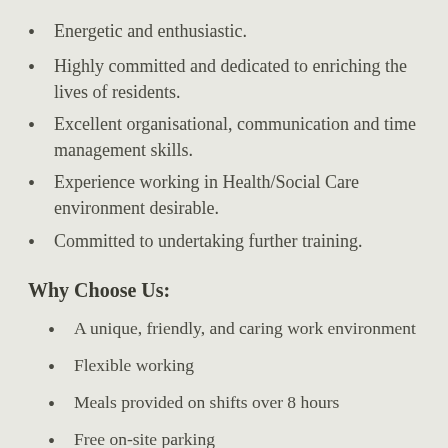Energetic and enthusiastic.
Highly committed and dedicated to enriching the lives of residents.
Excellent organisational, communication and time management skills.
Experience working in Health/Social Care environment desirable.
Committed to undertaking further training.
Why Choose Us:
A unique, friendly, and caring work environment
Flexible working
Meals provided on shifts over 8 hours
Free on-site parking